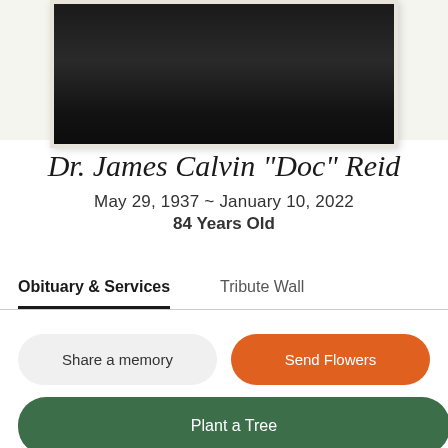[Figure (photo): Portrait photograph of Dr. James Calvin 'Doc' Reid, framed with cream/off-white border, dark background showing a person in formal attire]
Dr. James Calvin "Doc" Reid
May 29, 1937 ~ January 10, 2022
84 Years Old
Obituary & Services
Tribute Wall
Share a memory
Send Flowers
Plant a Tree